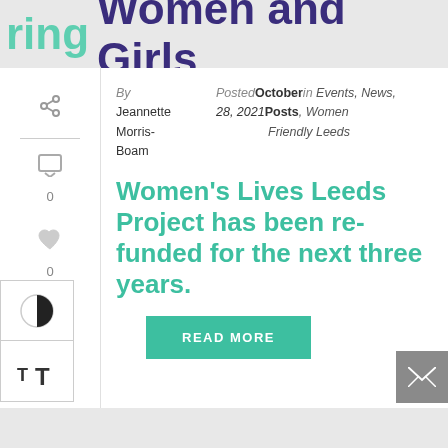ring Women and Girls
By Jeannette Morris-Boam  Posted October 28, 2021 in Events, News, Posts, Women Friendly Leeds
Women's Lives Leeds Project has been re-funded for the next three years.
READ MORE